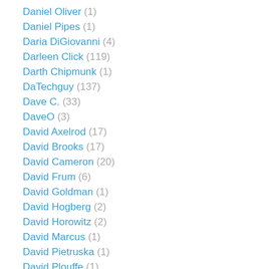Daniel Oliver (1)
Daniel Pipes (1)
Daria DiGiovanni (4)
Darleen Click (119)
Darth Chipmunk (1)
DaTechguy (137)
Dave C. (33)
DaveO (3)
David Axelrod (17)
David Brooks (17)
David Cameron (20)
David Frum (6)
David Goldman (1)
David Hogberg (2)
David Horowitz (2)
David Marcus (1)
David Pietruska (1)
David Plouffe (1)
David Pryce-Jones (7)
David Thompson (1)